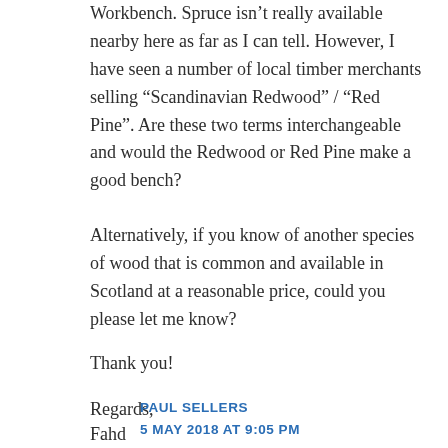Workbench. Spruce isn't really available nearby here as far as I can tell. However, I have seen a number of local timber merchants selling “Scandinavian Redwood” / “Red Pine”. Are these two terms interchangeable and would the Redwood or Red Pine make a good bench?
Alternatively, if you know of another species of wood that is common and available in Scotland at a reasonable price, could you please let me know?
Thank you!
Regards,
Fahd
PAUL SELLERS
5 MAY 2018 AT 9:05 PM